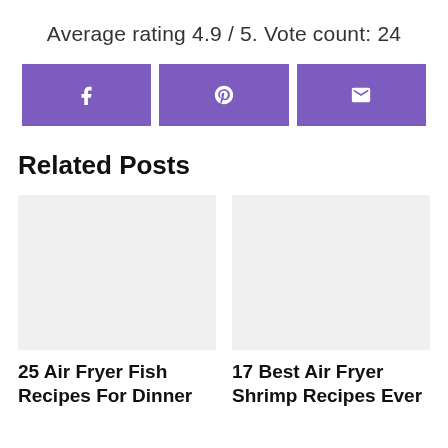Average rating 4.9 / 5. Vote count: 24
[Figure (other): Three purple social share buttons: Facebook (f), Pinterest (p), and Email (envelope icon)]
Related Posts
[Figure (other): Blank image placeholder for related post: 25 Air Fryer Fish Recipes For Dinner]
25 Air Fryer Fish Recipes For Dinner
[Figure (other): Blank image placeholder for related post: 17 Best Air Fryer Shrimp Recipes Ever]
17 Best Air Fryer Shrimp Recipes Ever